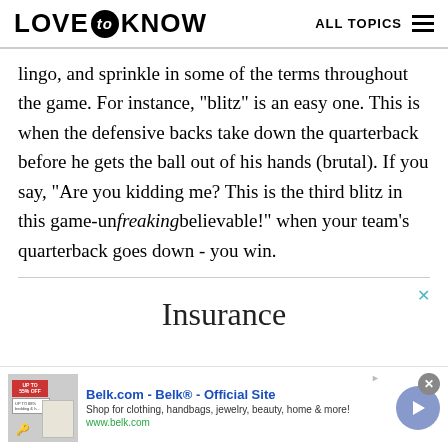LOVE to KNOW   ALL TOPICS
lingo, and sprinkle in some of the terms throughout the game. For instance, "blitz" is an easy one. This is when the defensive backs take down the quarterback before he gets the ball out of his hands (brutal). If you say, "Are you kidding me? This is the third blitz in this game-unfreakingbelievable!" when your team's quarterback goes down - you win.
[Figure (screenshot): Advertisement banner for Insurance section with a close button (x) and the word 'Insurance' in large serif font]
[Figure (screenshot): Belk.com advertisement banner showing Belk official site ad with product image, text 'Belk.com - Belk® - Official Site', description 'Shop for clothing, handbags, jewelry, beauty, home & more!', url 'www.belk.com', close button, and navigation arrow]